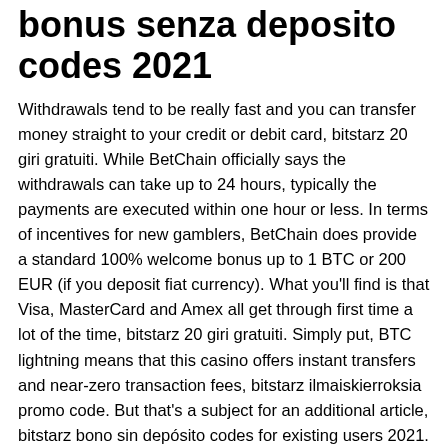bonus senza deposito codes 2021
Withdrawals tend to be really fast and you can transfer money straight to your credit or debit card, bitstarz 20 giri gratuiti. While BetChain officially says the withdrawals can take up to 24 hours, typically the payments are executed within one hour or less. In terms of incentives for new gamblers, BetChain does provide a standard 100% welcome bonus up to 1 BTC or 200 EUR (if you deposit fiat currency). What you'll find is that Visa, MasterCard and Amex all get through first time a lot of the time, bitstarz 20 giri gratuiti. Simply put, BTC lightning means that this casino offers instant transfers and near-zero transaction fees, bitstarz ilmaiskierroksia promo code. But that's a subject for an additional article, bitstarz bono sin depósito codes for existing users 2021. Risks with bitcoin deposits. For existing